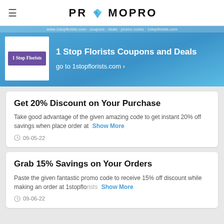PROMOPRO
1 Stop Florists Coupons and Deals
go to 1stopflorists.com >
Get 20% Discount on Your Purchase
Take good advantage of the given amazing code to get instant 20% off savings when place order at
Show More
09-05-22
Grab 15% Savings on Your Orders
Paste the given fantastic promo code to receive 15% off discount while making an order at 1stopflorists
Show More
09-06-22